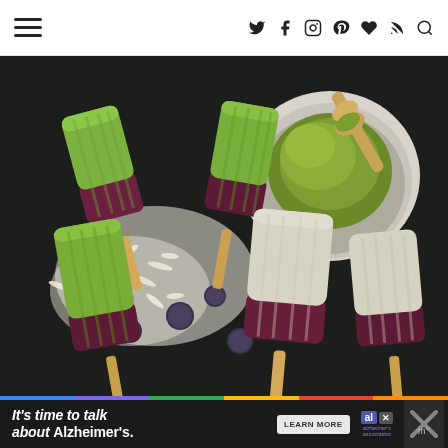Navigation bar with hamburger menu and social icons: Twitter, Facebook, Instagram, Pinterest, Bloglovin, RSS, Search
[Figure (photo): Overhead flat-lay photo of matcha coconut blueberry popsicles with green and purple/maroon layers on wooden sticks, surrounded by shredded coconut, fresh blueberries, and a white ceramic bowl filled with green matcha powder and a wooden spoon, on a dark granite surface.]
It's time to talk about Alzheimer's.
LEARN MORE
[Figure (logo): Alzheimer's Association logo with 'al' in a blue box and 'alzheimer's association' text below in purple-blue]